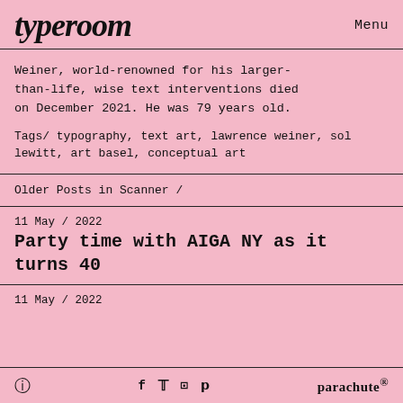typeroom  Menu
Weiner, world-renowned for his larger-than-life, wise text interventions died on December 2021. He was 79 years old.
Tags/ typography, text art, lawrence weiner, sol lewitt, art basel, conceptual art
Older Posts in Scanner /
11 May / 2022
Party time with AIGA NY as it turns 40
11 May / 2022
ⓘ  f  t  ⊡  p  parachute®